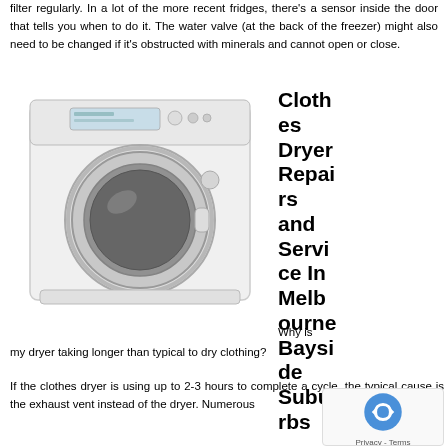filter regularly. In a lot of the more recent fridges, there's a sensor inside the door that tells you when to do it. The water valve (at the back of the freezer) might also need to be changed if it's obstructed with minerals and cannot open or close.
[Figure (photo): A white front-loading clothes dryer with a circular door and control panel on top]
Clothes Dryer Repairs and Service In Melbourne Bayside Suburbs
Why is my dryer taking longer than typical to dry clothing?
If the clothes dryer is using up to 2-3 hours to complete a cycle, the typical cause is the exhaust vent instead of the dryer. Numerous